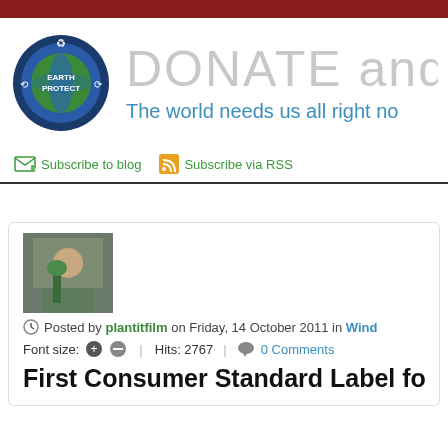[Figure (logo): Earth Protect circular logo with globe and recycling arrows]
DONATE and
The world needs us all right no
Subscribe to blog   Subscribe via RSS
[Figure (photo): User avatar photo thumbnail]
Posted by plantitfilm on Friday, 14 October 2011 in Wind
Font size:   Hits: 2767   0 Comments
First Consumer Standard Label for Wi